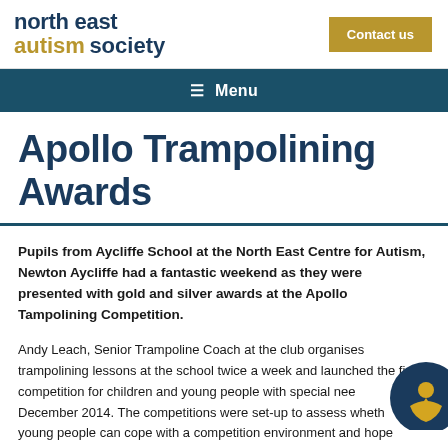north east autism society | Contact us
≡ Menu
Apollo Trampolining Awards
Pupils from Aycliffe School at the North East Centre for Autism, Newton Aycliffe had a fantastic weekend as they were presented with gold and silver awards at the Apollo Tampolining Competition.
Andy Leach, Senior Trampoline Coach at the club organises trampolining lessons at the school twice a week and launched the first competition for children and young people with special needs in December 2014. The competitions were set-up to assess whether young people can cope with a competition environment and hopefully lead to pupils taking part in regional and national events. Trampolining has numerous health benefits and the competitions encourage the